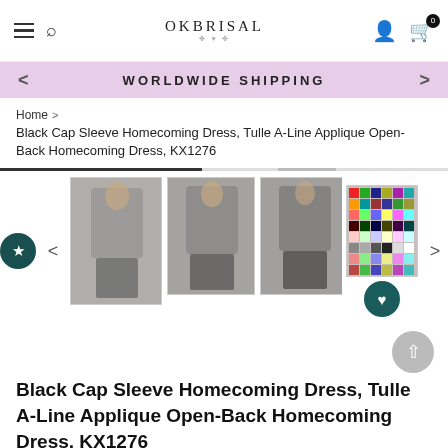OkBrisal navigation bar with hamburger menu, search, logo, user icon, cart (0)
WORLDWIDE SHIPPING
Home > Black Cap Sleeve Homecoming Dress, Tulle A-Line Applique Open-Back Homecoming Dress, KX1276
[Figure (photo): Product thumbnail gallery showing 5 images of a black cap sleeve homecoming dress from various angles, plus a color swatch image]
Black Cap Sleeve Homecoming Dress, Tulle A-Line Applique Open-Back Homecoming Dress, KX1276